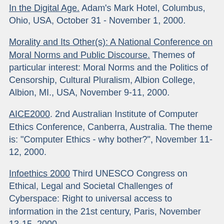In the Digital Age. Adam's Mark Hotel, Columbus, Ohio, USA, October 31 - November 1, 2000.
Morality and Its Other(s): A National Conference on Moral Norms and Public Discourse. Themes of particular interest: Moral Norms and the Politics of Censorship, Cultural Pluralism, Albion College, Albion, MI., USA, November 9-11, 2000.
AICE2000. 2nd Australian Institute of Computer Ethics Conference, Canberra, Australia. The theme is: "Computer Ethics - why bother?", November 11-12, 2000.
Infoethics 2000 Third UNESCO Congress on Ethical, Legal and Societal Challenges of Cyberspace: Right to universal access to information in the 21st century, Paris, November 13-15, 2000.
Designing Digital Environments - Bringing in More Voices. PDC 2000 (Participatory Design